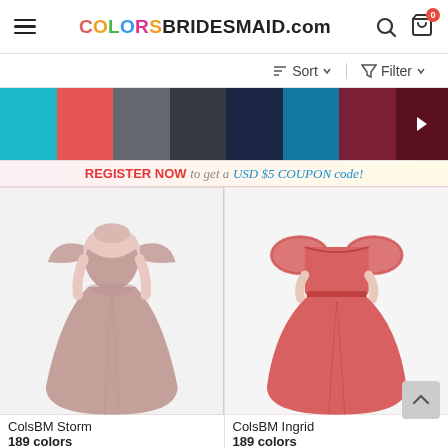COLORSBRIDESMAID.com
Sort  Filter
[Figure (screenshot): Color swatches: teal/cyan, coral/red, gray, dark charcoal, navy blue, dark teal, dark red/maroon, and arrow-right button]
REGISTER NOW to get a USD $5 COUPON code!
[Figure (photo): Model wearing a dusty pink/mauve long bridesmaid dress with flutter sleeves]
[Figure (photo): Model wearing a coral/salmon long off-shoulder bridesmaid dress with lace sleeves]
ColsBM Storm
189 colors
ColsBM Ingrid
189 colors